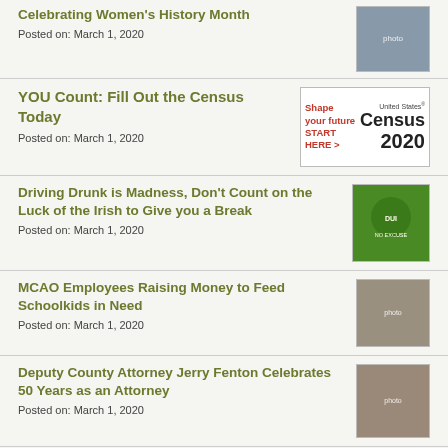Celebrating Women's History Month
Posted on: March 1, 2020
[Figure (photo): Group photo of women in business attire]
YOU Count: Fill Out the Census Today
Posted on: March 1, 2020
[Figure (infographic): United States Census 2020 logo with text Shape your future START HERE >]
Driving Drunk is Madness, Don't Count on the Luck of the Irish to Give you a Break
Posted on: March 1, 2020
[Figure (illustration): Green shamrock graphic with DUI prevention message]
MCAO Employees Raising Money to Feed Schoolkids in Need
Posted on: March 1, 2020
[Figure (photo): Two employees holding a large check]
Deputy County Attorney Jerry Fenton Celebrates 50 Years as an Attorney
Posted on: March 1, 2020
[Figure (photo): Portrait of Jerry Fenton smiling at desk]
Maricopa County Opens New Detention &
[Figure (photo): Exterior photo of detention facility]